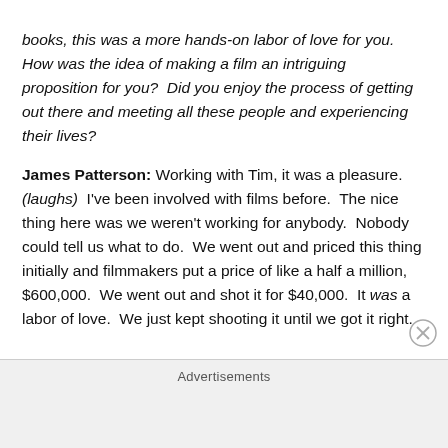books, this was a more hands-on labor of love for you. How was the idea of making a film an intriguing proposition for you?  Did you enjoy the process of getting out there and meeting all these people and experiencing their lives?
James Patterson: Working with Tim, it was a pleasure.  (laughs)  I've been involved with films before.  The nice thing here was we weren't working for anybody.  Nobody could tell us what to do.  We went out and priced this thing initially and filmmakers put a price of like a half a million, $600,000.  We went out and shot it for $40,000.  It was a labor of love.  We just kept shooting it until we got it right.
Advertisements